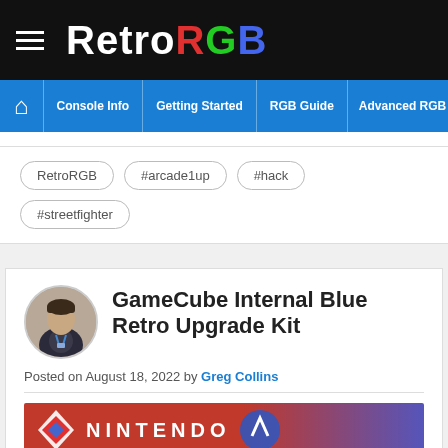RetroRGB
Console Info | Getting Started | RGB Guide | Advanced RGB Info | Ab...
RetroRGB
#arcade1up
#hack
#streetfighter
GameCube Internal Blue Retro Upgrade Kit
Posted on August 18, 2022 by Greg Collins
[Figure (photo): Nintendo banner/logo preview image at the bottom of the article card]